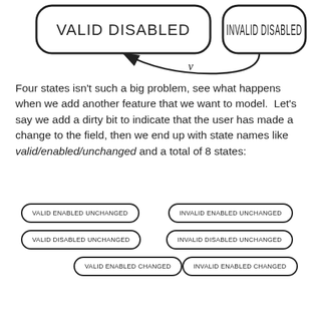[Figure (flowchart): Partial state diagram showing VALID DISABLED and INVALID DISABLED nodes with an arrow labeled v pointing from INVALID DISABLED to VALID DISABLED]
Four states isn't such a big problem, see what happens when we add another feature that we want to model.  Let's say we add a dirty bit to indicate that the user has made a change to the field, then we end up with state names like valid/enabled/unchanged and a total of 8 states:
[Figure (infographic): Six state name boxes arranged in a grid: VALID ENABLED UNCHANGED, INVALID ENABLED UNCHANGED, VALID DISABLED UNCHANGED, INVALID DISABLED UNCHANGED, VALID ENABLED CHANGED, INVALID ENABLED CHANGED]